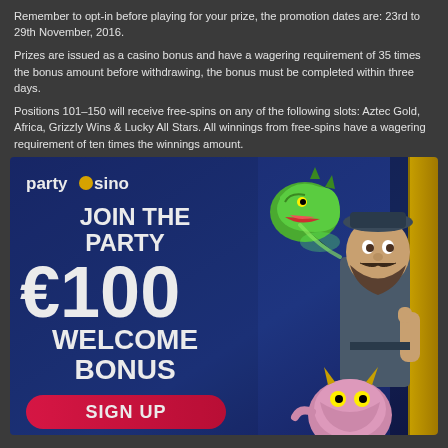Remember to opt-in before playing for your prize, the promotion dates are: 23rd to 29th November, 2016.
Prizes are issued as a casino bonus and have a wagering requirement of 35 times the bonus amount before withdrawing, the bonus must be completed within three days.
Positions 101–150 will receive free-spins on any of the following slots: Aztec Gold, Africa, Grizzly Wins & Lucky All Stars. All winnings from free-spins have a wagering requirement of ten times the winnings amount.
[Figure (illustration): PartyCasino advertisement banner showing the partycasino logo, text 'JOIN THE PARTY', '€100 WELCOME BONUS', a 'SIGN UP' button, and cartoon characters including a green dragon, a bearded man, and a pink monster on a dark blue background with a yellow door accent.]